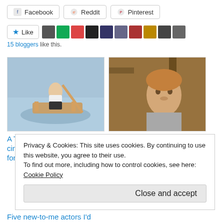[Figure (screenshot): Social share buttons: Facebook, Reddit, Pinterest]
[Figure (screenshot): Like button with star icon and 10 blogger avatars]
15 bloggers like this.
[Figure (photo): Man paddling a canoe on water wearing a white tank top]
A Thanksgiving Post: 24 cinematic things I'm thankful for in 2016
[Figure (photo): Young boy looking at camera in rustic setting]
Five new-to-me actors I'd love to see more of – based on 2012 viewings
Privacy & Cookies: This site uses cookies. By continuing to use this website, you agree to their use.
To find out more, including how to control cookies, see here: Cookie Policy
Close and accept
Five new-to-me actors I'd